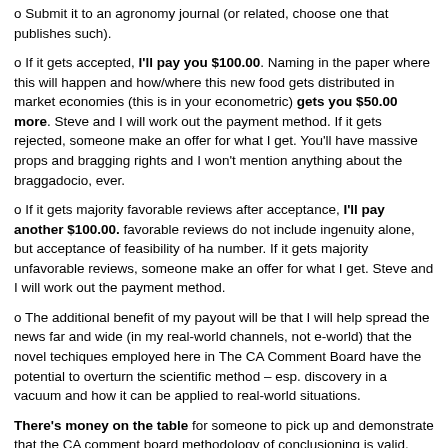o Submit it to an agronomy journal (or related, choose one that publishes such).
o If it gets accepted, I'll pay you $100.00. Naming in the paper where this will happen and how/where this new food gets distributed in market economies (this is in your econometric) gets you $50.00 more. Steve and I will work out the payment method. If it gets rejected, someone make an offer for what I get. You'll have massive props and bragging rights and I won't mention anything about the braggadocio, ever.
o If it gets majority favorable reviews after acceptance, I'll pay another $100.00. favorable reviews do not include ingenuity alone, but acceptance of feasibility of ha number. If it gets majority unfavorable reviews, someone make an offer for what I get. Steve and I will work out the payment method.
o The additional benefit of my payout will be that I will help spread the news far and wide (in my real-world channels, not e-world) that the novel techiques employed here in The CA Comment Board have the potential to overturn the scientific method – esp. discovery in a vacuum and how it can be applied to real-world situations.
There's money on the table for someone to pick up and demonstrate that the CA comment board methodology of conclusioning is valid. Who'll take it from me?
Best,